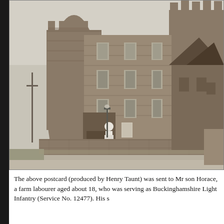[Figure (photo): Black and white postcard photograph of a castle-like stone building with crenellated towers. A person in white stands near the arched entrance gateway. A stone wall runs along the front. Other buildings with pitched roofs are visible to the right.]
The above postcard (produced by Henry Taunt) was sent to Mr son Horace, a farm labourer aged about 18, who was serving as Buckinghamshire Light Infantry (Service No. 12477). His s